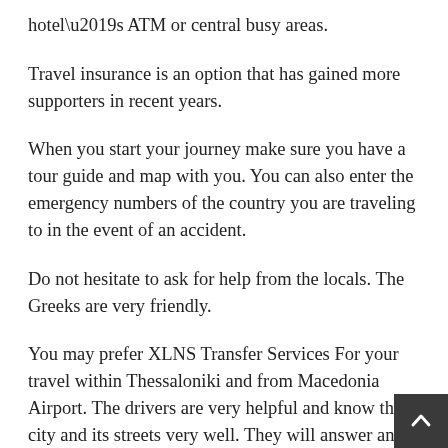hotel’s ATM or central busy areas.
Travel insurance is an option that has gained more supporters in recent years.
When you start your journey make sure you have a tour guide and map with you. You can also enter the emergency numbers of the country you are traveling to in the event of an accident.
Do not hesitate to ask for help from the locals. The Greeks are very friendly.
You may prefer XLNS Transfer Services For your travel within Thessaloniki and from Macedonia Airport. The drivers are very helpful and know the city and its streets very well. They will answer any question you may have as they speak English. It is